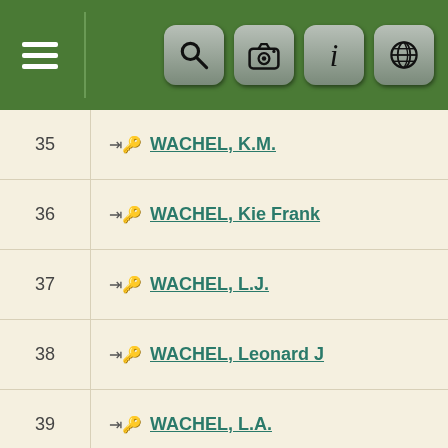[Figure (screenshot): Green navigation header bar with hamburger menu icon on the left, vertical divider, and four icon buttons (search, camera, info, globe) on the right with gray rounded rectangle backgrounds]
| # | Name |
| --- | --- |
| 35 | WACHEL, K.M. |
| 36 | WACHEL, Kie Frank |
| 37 | WACHEL, L.J. |
| 38 | WACHEL, Leonard J |
| 39 | WACHEL, L.A. |
| 40 | WACHEL, Margaret |
| 41 | WACHEL, M.B. |
| 42 | WACHEL, M.B. |
| 43 | WACHEL, M. |
| 44 | WACHEL, M.D. |
| 45 | WACHEL, M.F. |
| 46 | WACHEL, M. |